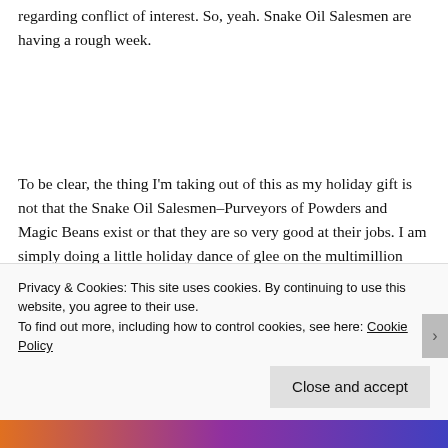regarding conflict of interest. So, yeah. Snake Oil Salesmen are having a rough week.
To be clear, the thing I'm taking out of this as my holiday gift is not that the Snake Oil Salesmen–Purveyors of Powders and Magic Beans exist or that they are so very good at their jobs. I am simply doing a little holiday dance of glee on the multimillion dollar payout and credible medical journal smackdown these guys are receiving right now. Just a little
Privacy & Cookies: This site uses cookies. By continuing to use this website, you agree to their use.
To find out more, including how to control cookies, see here: Cookie Policy
Close and accept